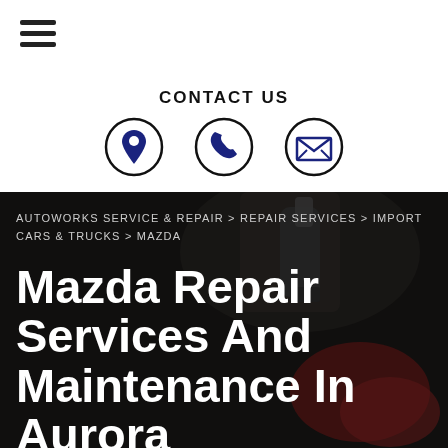[Figure (other): Hamburger menu icon (three horizontal bars) in top left corner]
CONTACT US
[Figure (infographic): Three circular contact icons: location pin, phone, and envelope/email]
[Figure (photo): Dark background photo of automotive repair tools/equipment with a mechanic's gloved hands]
AUTOWORKS SERVICE & REPAIR > REPAIR SERVICES > IMPORT CARS & TRUCKS > MAZDA
Mazda Repair Services And Maintenance In Aurora